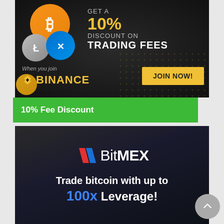[Figure (illustration): Binance advertisement banner: dark background with cryptocurrency coins (Bitcoin orange, Litecoin silver, XRP blue), text 'GET A 10% DISCOUNT ON TRADING FEES', 'When you join BINANCE' with Binance logo, and a yellow 'JOIN NOW!' button]
10% Fee Discount
[Figure (illustration): BitMEX advertisement banner: dark background with BitMEX logo (red/blue flag icon + BitMEX wordmark), text 'Trade bitcoin with up to 100x Leverage!' where 100x is in blue]